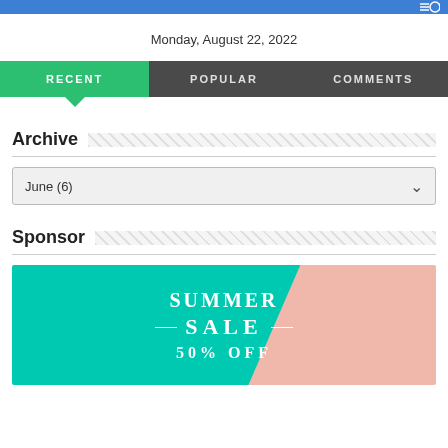Monday, August 22, 2022
RECENT | POPULAR | COMMENTS
Archive
June (6)
Sponsor
[Figure (illustration): Summer Sale 50% OFF promotional banner with teal and pink diagonal background]